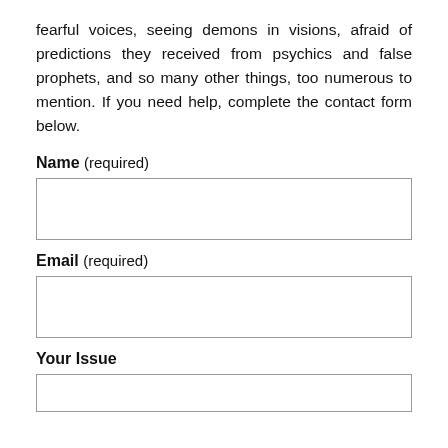fearful voices, seeing demons in visions, afraid of predictions they received from psychics and false prophets, and so many other things, too numerous to mention. If you need help, complete the contact form below.
Name (required)
Email (required)
Your Issue